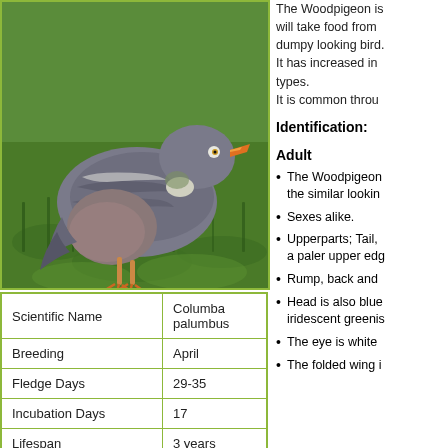[Figure (photo): A Woodpigeon (Columba palumbus) standing on green grass, showing grey plumage with white neck patch and orange beak]
| Scientific Name | Columba palumbus |
| Breeding | April |
| Fledge Days | 29-35 |
| Incubation Days | 17 |
| Lifespan | 3 years |
| Number of Clutches | 3 |
The Woodpigeon is will take food from dumpy looking bird. It has increased in types. It is common throu
Identification:
Adult
The Woodpigeon the similar lookin
Sexes alike.
Upperparts; Tail, a paler upper edg
Rump, back and
Head is also blue iridescent greenis
The eye is white
The folded wing i